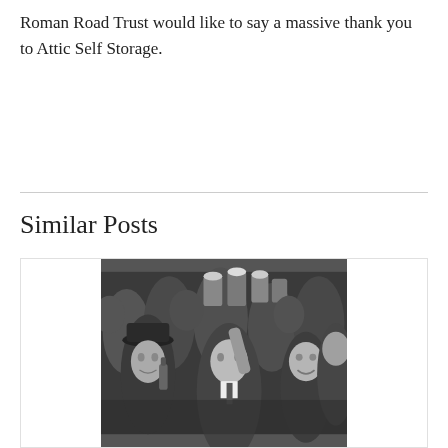Roman Road Trust would like to say a massive thank you to Attic Self Storage.
Similar Posts
[Figure (photo): Black and white photograph of a crowd of people celebrating, raising beer mugs and bottles.]